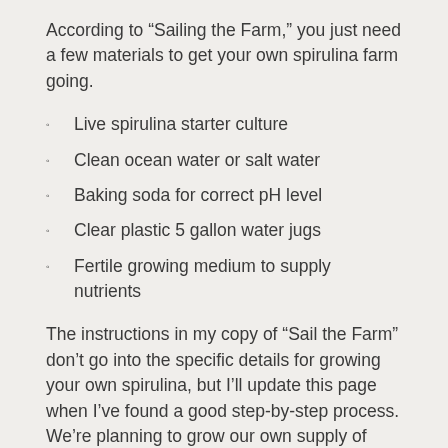According to “Sailing the Farm,” you just need a few materials to get your own spirulina farm going.
Live spirulina starter culture
Clean ocean water or salt water
Baking soda for correct pH level
Clear plastic 5 gallon water jugs
Fertile growing medium to supply nutrients
The instructions in my copy of “Sail the Farm” don’t go into the specific details for growing your own spirulina, but I’ll update this page when I’ve found a good step-by-step process. We’re planning to grow our own supply of Spirulina this summer.